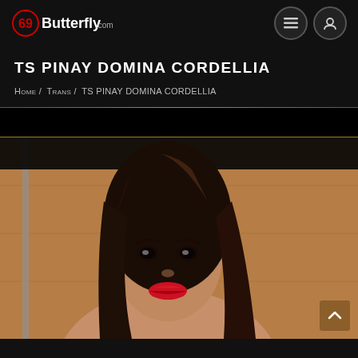69Butterfly.com
TS PINAY DOMINA CORDELLIA
Home / Trans / TS PINAY DOMINA CORDELLIA
[Figure (photo): Portrait photo of a woman with long dark brown hair, red lipstick, looking at the camera against a wooden wall background]